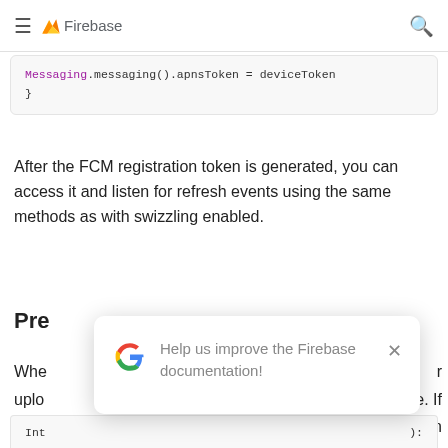≡ Firebase 🔍
[Figure (screenshot): Code block showing: Messaging.messaging().apnsToken = deviceToken and closing brace]
After the FCM registration token is generated, you can access it and listen for refresh events using the same methods as with swizzling enabled.
Pre...
Whe... uplo... you... prev... FCM...
[Figure (screenshot): Modal dialog with Google G logo and text: Help us improve the Firebase documentation! with X close button]
[Figure (screenshot): Bottom partial code block showing Int...):]